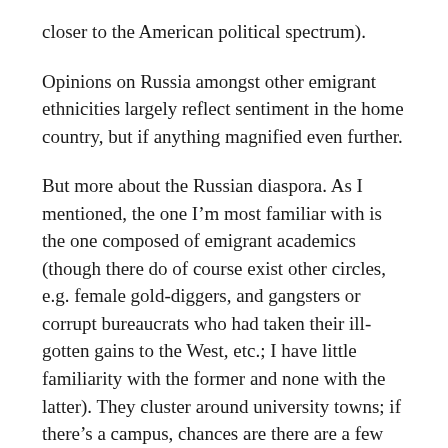closer to the American political spectrum).
Opinions on Russia amongst other emigrant ethnicities largely reflect sentiment in the home country, but if anything magnified even further.
But more about the Russian diaspora. As I mentioned, the one I'm most familiar with is the one composed of emigrant academics (though there do of course exist other circles, e.g. female gold-diggers, and gangsters or corrupt bureaucrats who had taken their ill-gotten gains to the West, etc.; I have little familiarity with the former and none with the latter). They cluster around university towns; if there's a campus, chances are there are a few Russians around. As an in-joke amongst them goes: “What’s an American university?”, “It’s a place where Russian physicists lecture to Chinese students.” Not that far off the mark either… In the hard sciences, especially math and physics, many profs in Western universities are Russians